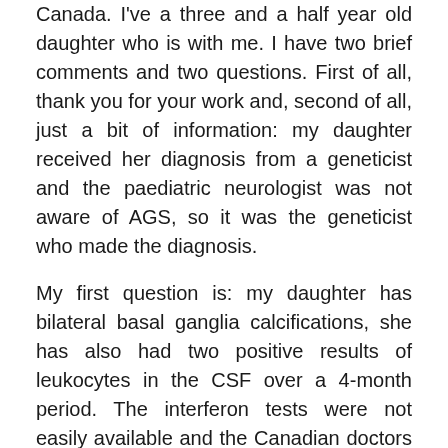Canada. I've a three and a half year old daughter who is with me. I have two brief comments and two questions. First of all, thank you for your work and, second of all, just a bit of information: my daughter received her diagnosis from a geneticist and the paediatric neurologist was not aware of AGS, so it was the geneticist who made the diagnosis.
My first question is: my daughter has bilateral basal ganglia calcifications, she has also had two positive results of leukocytes in the CSF over a 4-month period. The interferon tests were not easily available and the Canadian doctors did not really want to push to have this done. So, my question is: can this diagnosis be made based on those two symptoms? Should at this point still have this done? Is there an approximate age where the interferon level drops so low that perhaps at this point having it done may show nothing?